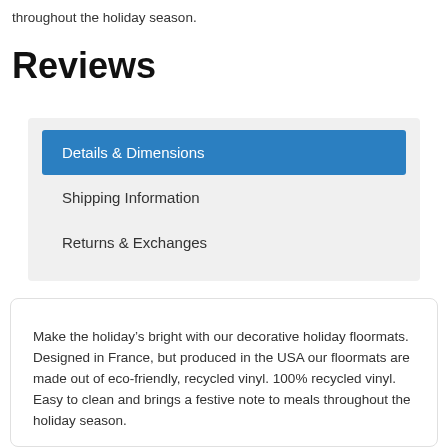throughout the holiday season.
Reviews
Details & Dimensions
Shipping Information
Returns & Exchanges
Make the holiday’s bright with our decorative holiday floormats.  Designed in France, but produced in the USA our floormats are made out of eco-friendly, recycled vinyl. 100% recycled vinyl. Easy to clean and brings a festive note to meals throughout the holiday season.